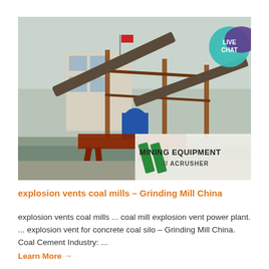[Figure (photo): Industrial mining equipment facility with conveyor belts, metal framework structures, and a building in the background. A Chinese flag is visible. Bottom right shows a logo/watermark reading 'MINING EQUIPMENT ACRUSHER' with green diagonal stripes. A 'LIVE CHAT' badge appears in the top-right corner of the image as a teal circle with purple speech bubble.]
explosion vents coal mills – Grinding Mill China
explosion vents coal mills ... coal mill explosion vent power plant. ... explosion vent for concrete coal silo – Grinding Mill China. Coal Cement Industry: ...
Learn More →